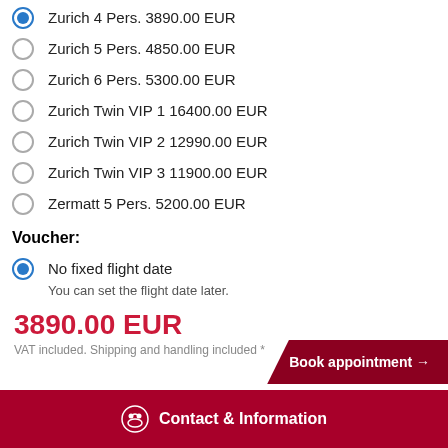Zurich 4 Pers. 3890.00 EUR (selected)
Zurich 5 Pers. 4850.00 EUR
Zurich 6 Pers. 5300.00 EUR
Zurich Twin VIP 1 16400.00 EUR
Zurich Twin VIP 2 12990.00 EUR
Zurich Twin VIP 3 11900.00 EUR
Zermatt 5 Pers. 5200.00 EUR
Voucher:
No fixed flight date
You can set the flight date later.
Request specific flight date
3890.00 EUR
VAT included. Shipping and handling included *
Book appointment →
Contact & Information